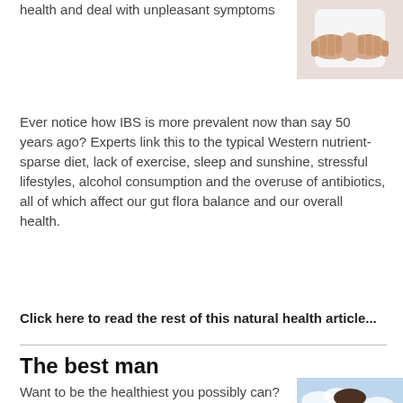health and deal with unpleasant symptoms
[Figure (photo): Person holding their stomach/abdomen area with both hands]
Ever notice how IBS is more prevalent now than say 50 years ago? Experts link this to the typical Western nutrient-sparse diet, lack of exercise, sleep and sunshine, stressful lifestyles, alcohol consumption and the overuse of antibiotics, all of which affect our gut flora balance and our overall health.
Click here to read the rest of this natural health article...
The best man
Want to be the healthiest you possibly can? Here are natural solutions to the most common
[Figure (photo): Man looking upward with sky in background]